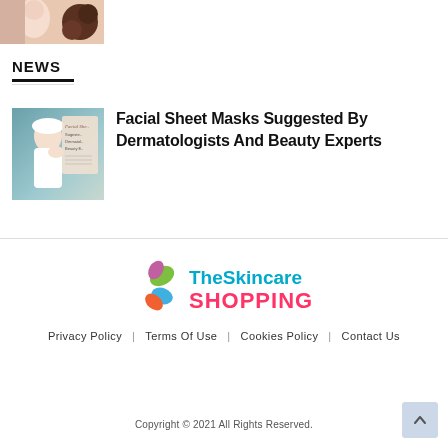[Figure (photo): Cropped photo of a woman with chocolate or skincare products]
NEWS
[Figure (photo): Woman in white towel turban touching face, with facial sheet mask promotional text overlay]
Facial Sheet Masks Suggested By Dermatologists And Beauty Experts
[Figure (logo): TheSkincare SHOPPING logo with butterfly icons]
Privacy Policy   Terms Of Use   Cookies Policy   Contact Us
Copyright © 2021 All Rights Reserved.